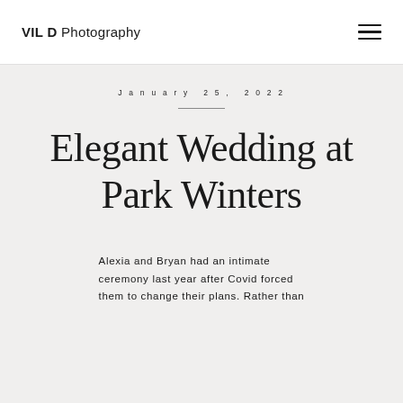VIL D Photography
January 25, 2022
Elegant Wedding at Park Winters
Alexia and Bryan had an intimate ceremony last year after Covid forced them to change their plans. Rather than